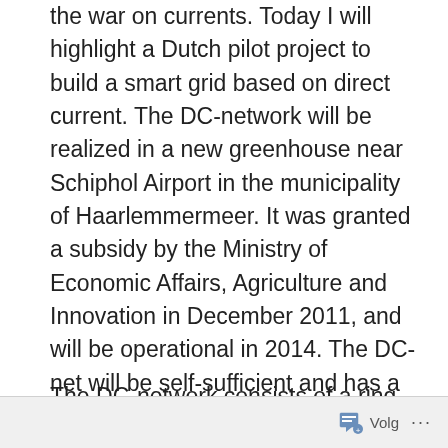the war on currents. Today I will highlight a Dutch pilot project to build a smart grid based on direct current. The DC-network will be realized in a new greenhouse near Schiphol Airport in the municipality of Haarlemmermeer. It was granted a subsidy by the Ministry of Economic Affairs, Agriculture and Innovation in December 2011, and will be operational in 2014. The DC-net will be self-sufficient and has a backup to the underlying alternating current distribution system (hereinafter AC distribution). The electrical output of the DC-net is between 300 and 1500 watts.
The DC-network consists of a ring around the
Volg ...